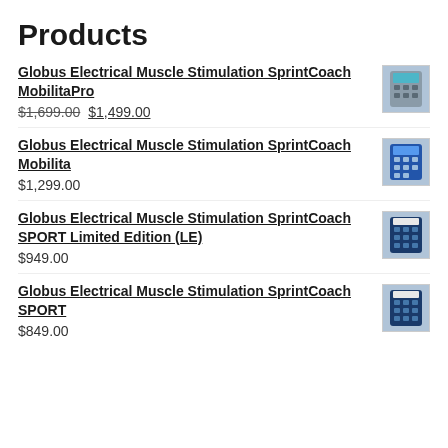Products
Globus Electrical Muscle Stimulation SprintCoach MobilitaPro
$1,699.00 $1,499.00
Globus Electrical Muscle Stimulation SprintCoach Mobilita
$1,299.00
Globus Electrical Muscle Stimulation SprintCoach SPORT Limited Edition (LE)
$949.00
Globus Electrical Muscle Stimulation SprintCoach SPORT
$849.00